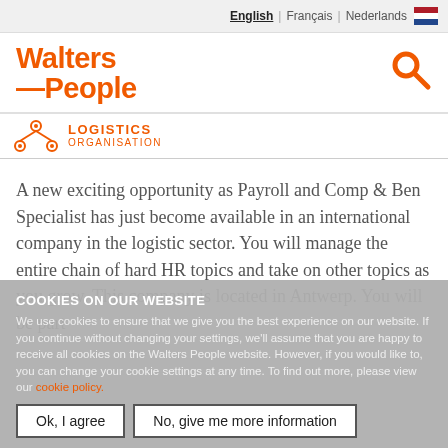English | Français | Nederlands
[Figure (logo): Walters People logo in orange text with a search icon (magnifying glass) on the right]
[Figure (other): Logistics organisation icon with orange network/nodes graphic and text 'LOGISTICS ORGANISATION' in orange]
A new exciting opportunity as Payroll and Comp & Ben Specialist has just become available in an international company in the logistic sector. You will manage the entire chain of hard HR topics and take on other topics as you grow. This company is located in Antwerp. You will be part
COOKIES ON OUR WEBSITE
We use cookies to ensure that we give you the best experience on our website. If you continue without changing your settings, we'll assume that you are happy to receive all cookies on the Walters People website. However, if you would like to, you can change your cookie settings at any time. To find out more, please view our cookie policy.
Ok, I agree
No, give me more information